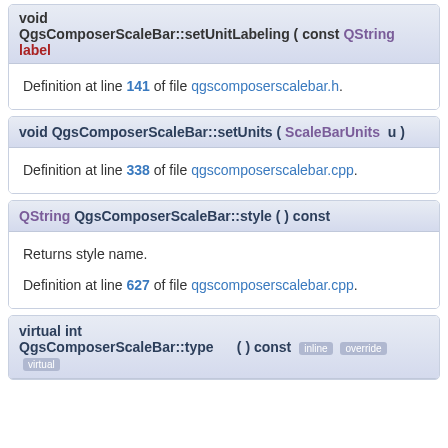void QgsComposerScaleBar::setUnitLabeling ( const QString & label
Definition at line 141 of file qgscomposerscalebar.h.
void QgsComposerScaleBar::setUnits ( ScaleBarUnits u )
Definition at line 338 of file qgscomposerscalebar.cpp.
QString QgsComposerScaleBar::style ( ) const
Returns style name.

Definition at line 627 of file qgscomposerscalebar.cpp.
virtual int QgsComposerScaleBar::type ( ) const [inline] [override] [virtual]